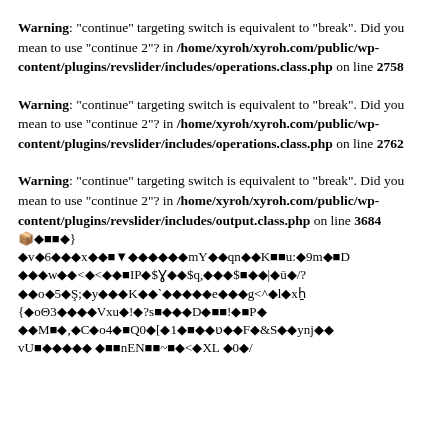Warning: "continue" targeting switch is equivalent to "break". Did you mean to use "continue 2"? in /home/xyroh/xyroh.com/public/wp-content/plugins/revslider/includes/operations.class.php on line 2758
Warning: "continue" targeting switch is equivalent to "break". Did you mean to use "continue 2"? in /home/xyroh/xyroh.com/public/wp-content/plugins/revslider/includes/operations.class.php on line 2762
Warning: "continue" targeting switch is equivalent to "break". Did you mean to use "continue 2"? in /home/xyroh/xyroh.com/public/wp-content/plugins/revslider/includes/output.class.php on line 3684 followed by garbled binary/encoded content